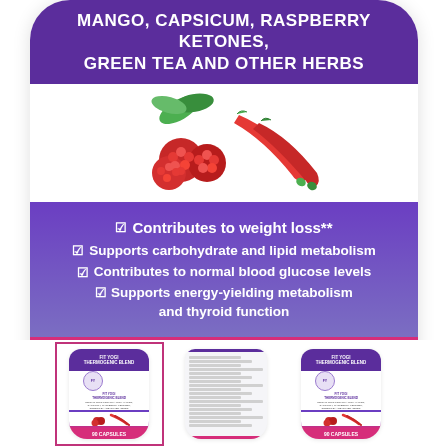[Figure (photo): Product label of Fit Yogi Thermogenic Blend supplement bottle showing raspberries and chili peppers, with text: MANGO, CAPSICUM, RASPBERRY KETONES, GREEN TEA AND OTHER HERBS. Bullet points: Contributes to weight loss**, Supports carbohydrate and lipid metabolism, Contributes to normal blood glucose levels, Supports energy-yielding metabolism and thyroid function. Bottom bar: FOOD SUPPLEMENT 90 CAPSULES]
[Figure (photo): Three thumbnail views of the supplement bottle: front label (selected with pink border), back label with nutritional information, and a second front label view.]